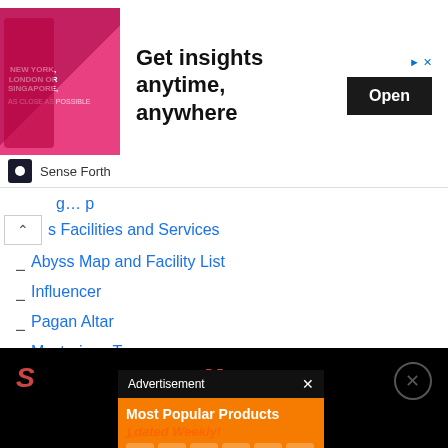[Figure (screenshot): Advertisement banner: person on pink background with text 'NEW YORK, LONDON OR SINGAPORE', headline 'Get insights anytime, anywhere', brand 'Sense Forth', Open button]
s Facilities and Services
Abyss Map and Facility List
Influencer
Pagan Altar
Mysterious Te[mple]
Wayseer
Scrap Heap
New Charact[ers]
Aelfric
Yuri
[Figure (screenshot): Overlay advertisement: 'Most Popular Products Updated Weekly!' on orange background with product icons]
[Figure (screenshot): Bottom black bar with red S icon, red [] brackets, and close X button]